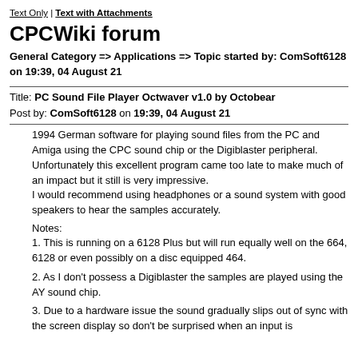Text Only | Text with Attachments
CPCWiki forum
General Category => Applications => Topic started by: ComSoft6128 on 19:39, 04 August 21
Title: PC Sound File Player Octwaver v1.0 by Octobear
Post by: ComSoft6128 on 19:39, 04 August 21
1994 German software for playing sound files from the PC and Amiga using the CPC sound chip or the Digiblaster peripheral. Unfortunately this excellent program came too late to make much of an impact but it still is very impressive.
I would recommend using headphones or a sound system with good speakers to hear the samples accurately.
Notes:
1. This is running on a 6128 Plus but will run equally well on the 664, 6128 or even possibly on a disc equipped 464.
2. As I don't possess a Digiblaster the samples are played using the AY sound chip.
3. Due to a hardware issue the sound gradually slips out of sync with the screen display so don't be surprised when an input is